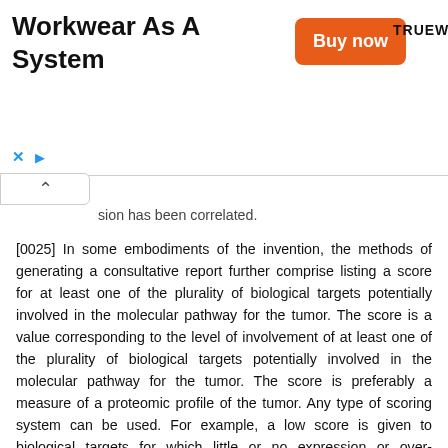[Figure (other): Advertisement banner for Truewerk 'Workwear As A System' with orange 'Buy now' button and Truewerk logo]
sion has been correlated.
[0025] In some embodiments of the invention, the methods of generating a consultative report further comprise listing a score for at least one of the plurality of biological targets potentially involved in the molecular pathway for the tumor. The score is a value corresponding to the level of involvement of at least one of the plurality of biological targets potentially involved in the molecular pathway for the tumor. The score is preferably a measure of a proteomic profile of the tumor. Any type of scoring system can be used. For example, a low score is given to biological targets for which little or no expression or over-expression has been shown. A high score is given to biological targets for which expression or over-expression has been shown.
[0026] In some embodiments of the invention, the methods of generating a consultative report further comprise listing an interpretation of the score for the molecular pathway, biological target, or both. The interpretation can describe the scoring system itself, the actual scores for a particular patient, the scores for control tests, as well as optimal or desirable scores, or any combination thereof.